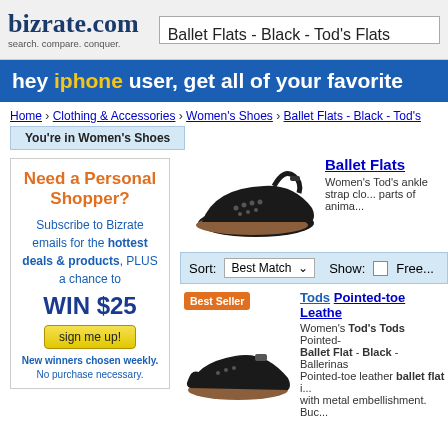[Figure (screenshot): Bizrate.com logo with tagline 'search. compare. conquer.']
Ballet Flats - Black - Tod's Flats
hey iphone user, get all of your favorite
Home › Clothing & Accessories › Women's Shoes › Ballet Flats - Black - Tod's
You're in Women's Shoes
[Figure (photo): Black ballet flat shoe with ankle strap]
Ballet Flats Women's Tod's ankle strap clo... parts of anima...
Need a Personal Shopper?
Subscribe to Bizrate emails for the hottest deals & products, PLUS a chance to WIN $25 sign me up! New winners chosen weekly. No purchase necessary.
Sort: Best Match    Show: □ Free...
Tods Pointed-toe Leathe...
[Figure (photo): Black pointed-toe ballet flat shoe with Best Seller badge]
Women's Tod's Tods Pointed- Ballet Flat - Black - Ballerinas Pointed-toe leather ballet flat i... with metal embellishment. Buc...